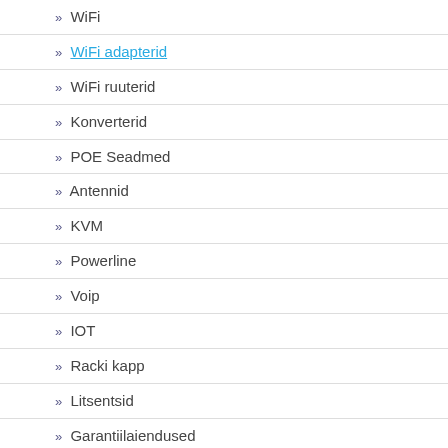» WiFi
» WiFi adapterid
» WiFi ruuterid
» Konverterid
» POE Seadmed
» Antennid
» KVM
» Powerline
» Voip
» IOT
» Racki kapp
» Litsentsid
» Garantiilaiendused
» Esitlustehnika
» Nutiseadmed
» Nutitelefonid
» Heli ja muusika
» Kaamerad
» Valveseadmed
» Kontoritarbed